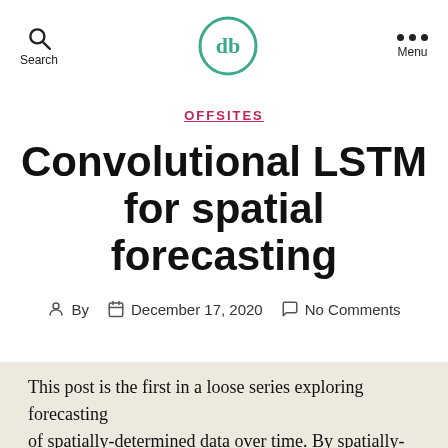Search | db logo | Menu
OFFSITES
Convolutional LSTM for spatial forecasting
By   December 17, 2020   No Comments
This post is the first in a loose series exploring forecasting of spatially-determined data over time. By spatially-determined,